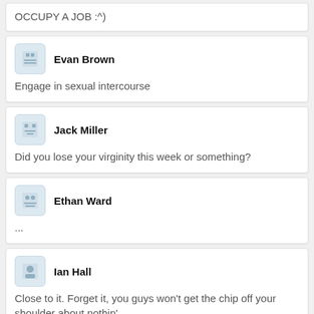OCCUPY A JOB :^)
Evan Brown
Engage in sexual intercourse
Jack Miller
Did you lose your virginity this week or something?
Ethan Ward
...
Ian Hall
Close to it. Forget it, you guys won't get the chip off your shoulder about nothin'